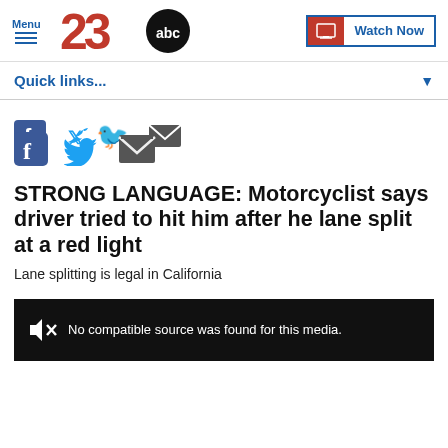Menu | 23 ABC | Watch Now
Quick links...
[Figure (screenshot): Social media share icons: Facebook, Twitter, Email]
STRONG LANGUAGE: Motorcyclist says driver tried to hit him after he lane split at a red light
Lane splitting is legal in California
[Figure (screenshot): No compatible source was found for this media.]